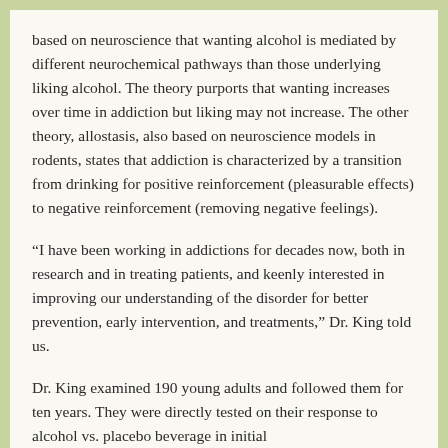based on neuroscience that wanting alcohol is mediated by different neurochemical pathways than those underlying liking alcohol. The theory purports that wanting increases over time in addiction but liking may not increase. The other theory, allostasis, also based on neuroscience models in rodents, states that addiction is characterized by a transition from drinking for positive reinforcement (pleasurable effects) to negative reinforcement (removing negative feelings).
“I have been working in addictions for decades now, both in research and in treating patients, and keenly interested in improving our understanding of the disorder for better prevention, early intervention, and treatments,” Dr. King told us.
Dr. King examined 190 young adults and followed them for ten years. They were directly tested on their response to alcohol vs. placebo beverage in initial